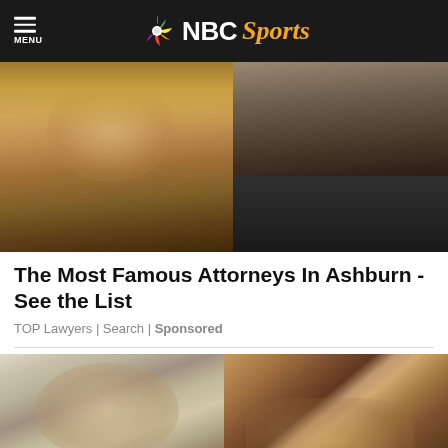NBC Sports - MENU
[Figure (photo): Two people, a blonde woman on the left and a man in black on the right, close-up portrait photo used as advertisement image]
The Most Famous Attorneys In Ashburn - See the List
TOP Lawyers | Search | Sponsored
[Figure (photo): Split image: left side shows an older man in suit and glasses pointing, right side shows hands manipulating small round objects in soil/sand]